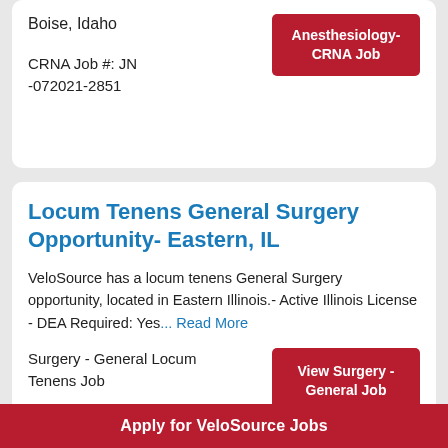Boise, Idaho
CRNA Job #: JN -072021-2851
Anesthesiology- CRNA Job
Locum Tenens General Surgery Opportunity- Eastern, IL
VeloSource has a locum tenens General Surgery opportunity, located in Eastern Illinois.- Active Illinois License - DEA Required: Yes... Read More
Surgery - General Locum Tenens Job
Danville, Illinois
View Surgery - General Job
Apply for VeloSource Jobs